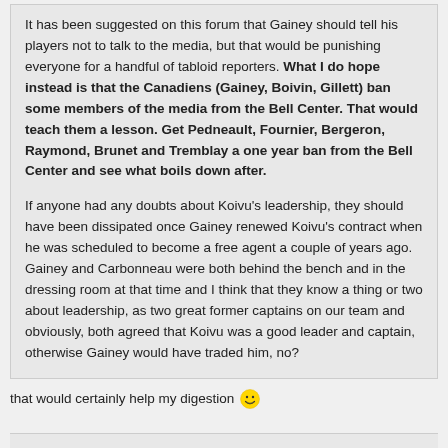It has been suggested on this forum that Gainey should tell his players not to talk to the media, but that would be punishing everyone for a handful of tabloid reporters. What I do hope instead is that the Canadiens (Gainey, Boivin, Gillett) ban some members of the media from the Bell Center. That would teach them a lesson. Get Pedneault, Fournier, Bergeron, Raymond, Brunet and Tremblay a one year ban from the Bell Center and see what boils down after.

If anyone had any doubts about Koivu's leadership, they should have been dissipated once Gainey renewed Koivu's contract when he was scheduled to become a free agent a couple of years ago. Gainey and Carbonneau were both behind the bench and in the dressing room at that time and I think that they know a thing or two about leadership, as two great former captains on our team and obviously, both agreed that Koivu was a good leader and captain, otherwise Gainey would have traded him, no?
that would certainly help my digestion 😄